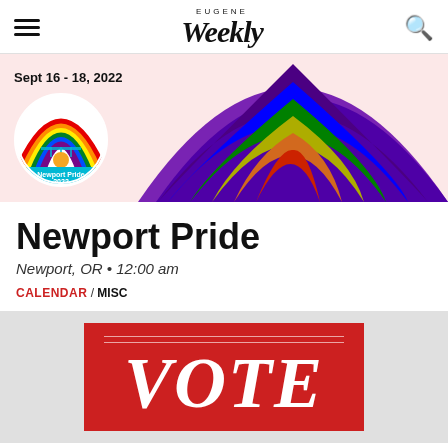EUGENE Weekly
[Figure (illustration): Newport Pride 2022 banner with rainbow arc on pink background. Shows 'Sept 16 - 18, 2022' date text and Newport Pride 2022 circular logo with rainbow bridge graphic.]
Newport Pride
Newport, OR • 12:00 am
CALENDAR / MISC
[Figure (illustration): Red advertisement banner with white italic text reading VOTE and decorative lines above.]